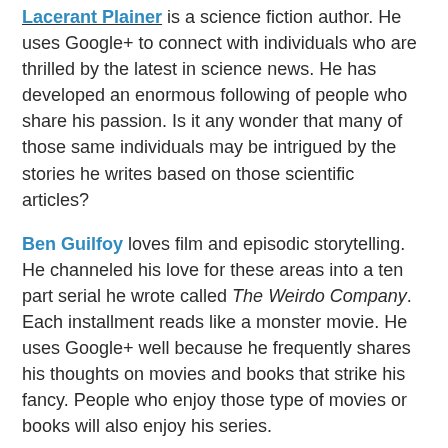Lacerant Plainer is a science fiction author. He uses Google+ to connect with individuals who are thrilled by the latest in science news. He has developed an enormous following of people who share his passion. Is it any wonder that many of those same individuals may be intrigued by the stories he writes based on those scientific articles?
Ben Guilfoy loves film and episodic storytelling. He channeled his love for these areas into a ten part serial he wrote called The Weirdo Company. Each installment reads like a monster movie. He uses Google+ well because he frequently shares his thoughts on movies and books that strike his fancy. People who enjoy those type of movies or books will also enjoy his series.
Chris Reher is another science fiction author who uses Google+ to connect with like-minded individuals. However, she does so with a twist. Whereas, Lacerant shares articles and science-related news, Chris uses Google+ to connect with actual scientists and frequently taps into their collective knowledge to make her books stronger and to ensure that the ideas in her books are scientifically sound. What a great way to use this platform!